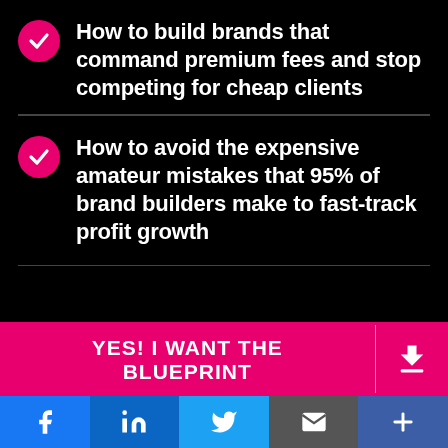How to build brands that command premium fees and stop competing for cheap clients
How to avoid the expensive amateur mistakes that 95% of brand builders make to fast-track profit growth
YES! I WANT THE BLUEPRINT